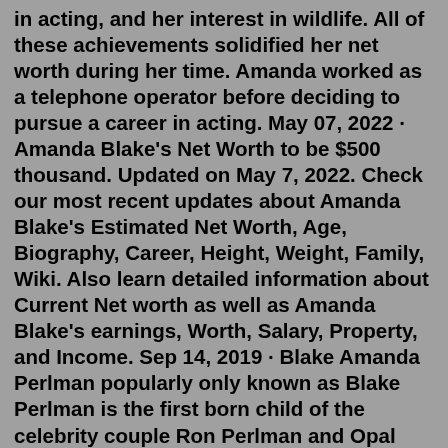in acting, and her interest in wildlife. All of these achievements solidified her net worth during her time. Amanda worked as a telephone operator before deciding to pursue a career in acting. May 07, 2022 · Amanda Blake's Net Worth to be $500 thousand. Updated on May 7, 2022. Check our most recent updates about Amanda Blake's Estimated Net Worth, Age, Biography, Career, Height, Weight, Family, Wiki. Also learn detailed information about Current Net worth as well as Amanda Blake's earnings, Worth, Salary, Property, and Income. Sep 14, 2019 · Blake Amanda Perlman popularly only known as Blake Perlman is the first born child of the celebrity couple Ron Perlman and Opal Perlman. Blake was born on 7th January 1984. The name "Blake" is an English name which means "Fair-haired, dark". Parents' Net Worth. Blake's father, Ron Perlman has the net worth of $15 million. The Amanda Blake net worth and salary figures above have been reported from a number of credible sources and websites.